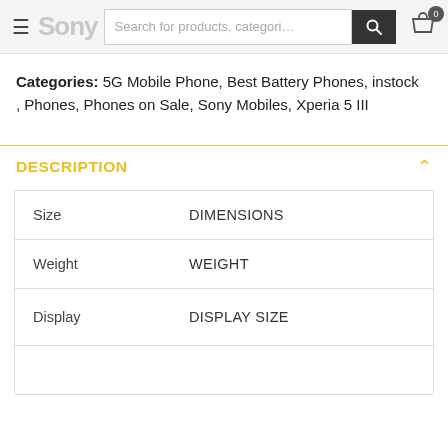Sony | Search for products, categories | Cart (0)
Categories: 5G Mobile Phone, Best Battery Phones, instock, Phones, Phones on Sale, Sony Mobiles, Xperia 5 III
DESCRIPTION
|  |  |
| --- | --- |
| Size | DIMENSIONS |
| Weight | WEIGHT |
| Display | DISPLAY SIZE |
|  |  |